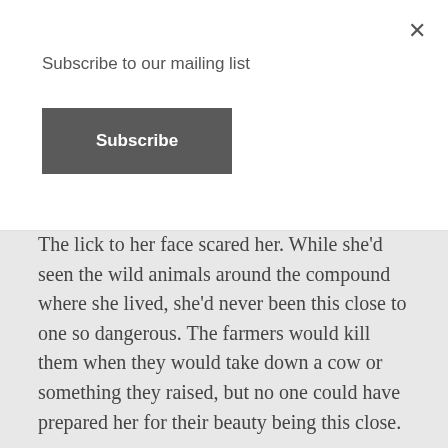Subscribe to our mailing list
Subscribe
The lick to her face scared her. While she'd seen the wild animals around the compound where she lived, she'd never been this close to one so dangerous. The farmers would kill them when they would take down a cow or something they raised, but no one could have prepared her for their beauty being this close.
The big cat put her paw on her head and pushed it back down, so it rested on the dirt. When she started to lift it again, the cat pushed her down again. Understanding that she was to stay where she was, Morgan closed her eyes. If she was going